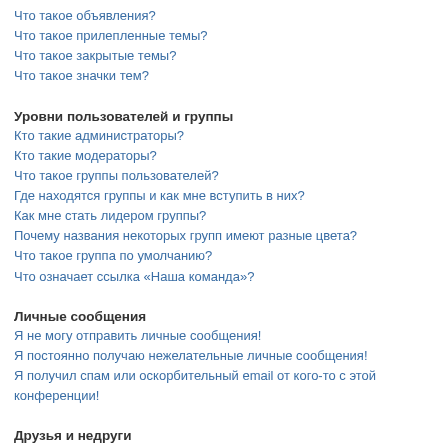Что такое объявления?
Что такое прилепленные темы?
Что такое закрытые темы?
Что такое значки тем?
Уровни пользователей и группы
Кто такие администраторы?
Кто такие модераторы?
Что такое группы пользователей?
Где находятся группы и как мне вступить в них?
Как мне стать лидером группы?
Почему названия некоторых групп имеют разные цвета?
Что такое группа по умолчанию?
Что означает ссылка «Наша команда»?
Личные сообщения
Я не могу отправить личные сообщения!
Я постоянно получаю нежелательные личные сообщения!
Я получил спам или оскорбительный email от кого-то с этой конференции!
Друзья и недруги
Что означают списки друзей и недругов?
Как мне добавлять/удалять пользователей в списках моих друзей и недругов?
Поиск по форумам
Как мне выполнить поиск по форуму или форумам?
Почему мой поиск не даёт результатов?
В результате моего поиска я получил пустую страницу!